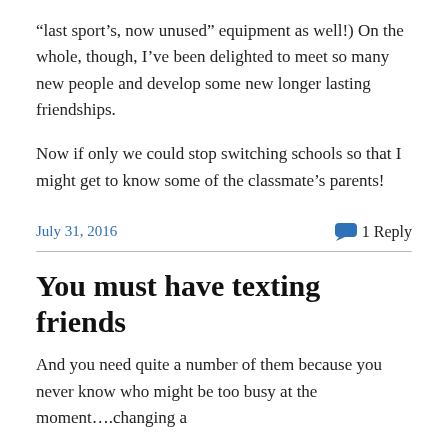“last sport’s, now unused” equipment as well!) On the whole, though, I’ve been delighted to meet so many new people and develop some new longer lasting friendships.
Now if only we could stop switching schools so that I might get to know some of the classmate’s parents!
July 31, 2016   1 Reply
You must have texting friends
And you need quite a number of them because you never know who might be too busy at the moment….changing a